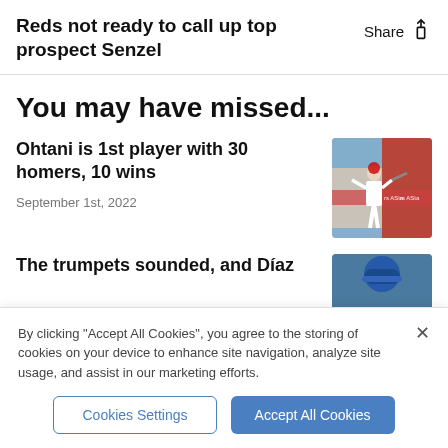Reds not ready to call up top prospect Senzel
You may have missed...
Ohtani is 1st player with 30 homers, 10 wins
September 1st, 2022
[Figure (photo): Baseball player batting, wearing white uniform, stadium background with Allstate signage]
The trumpets sounded, and Díaz
[Figure (photo): Partially visible baseball player wearing blue cap]
By clicking "Accept All Cookies", you agree to the storing of cookies on your device to enhance site navigation, analyze site usage, and assist in our marketing efforts.
Cookies Settings
Accept All Cookies